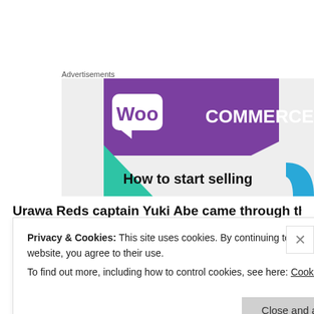Advertisements
[Figure (illustration): WooCommerce advertisement banner showing the WooCommerce logo on a purple background with teal and blue geometric shapes, and text 'How to start selling']
Urawa Reds captain Yuki Abe came through the youth
Privacy & Cookies: This site uses cookies. By continuing to use this website, you agree to their use.
To find out more, including how to control cookies, see here: Cookie Policy
Close and accept